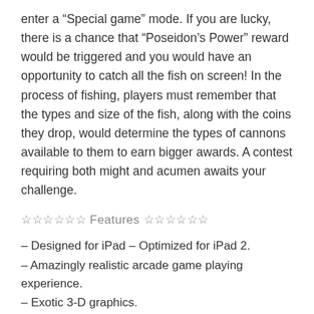enter a “Special game” mode. If you are lucky, there is a chance that “Poseidon’s Power” reward would be triggered and you would have an opportunity to catch all the fish on screen! In the process of fishing, players must remember that the types and size of the fish, along with the coins they drop, would determine the types of cannons available to them to earn bigger awards. A contest requiring both might and acumen awaits your challenge.
☆☆☆☆☆☆ Features ☆☆☆☆☆☆
– Designed for iPad – Optimized for iPad 2.
– Amazingly realistic arcade game playing experience.
– Exotic 3-D graphics.
– Awesome coin return effect.
– Fish Game adventure, Visiting and Fishing in friendly...